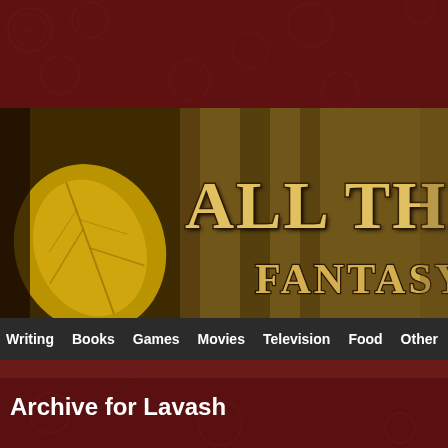[Figure (screenshot): Website header banner for 'All Things Fantasy' blog showing textured golden/earthy background with large stylized text 'ALL THINGS' and 'FANTASY' in gold letters]
Writing  Books  Games  Movies  Television  Food  Other  Ga
Archive for Lavash